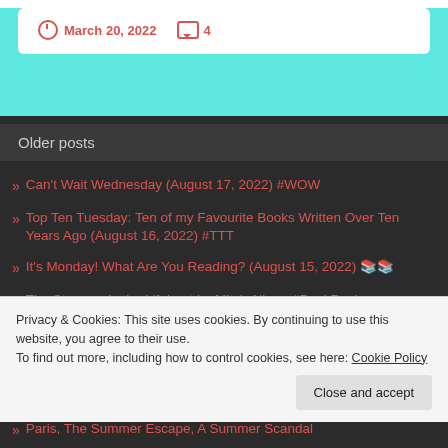March 20, 2022   4
Older posts
» Can't Wait Wednesday (August 17, 2022) #WOW
» Top Ten Tuesday: Ten of my Favourite Books Written Over Ten Years Ago (August 16, 2022) #TTT
» It's Monday! What Are You Reading? (August 15, 2022) 📚📚
» The Stranger in the Lifeboat by Mitch Albom #BookReview #Audiobook @HarperAudio
» Hook, Line & Sinker by Marc Jedel #BookReview
Privacy & Cookies: This site uses cookies. By continuing to use this website, you agree to their use.
To find out more, including how to control cookies, see here: Cookie Policy
» Paris, The Summer Escape, A Summer Scandal